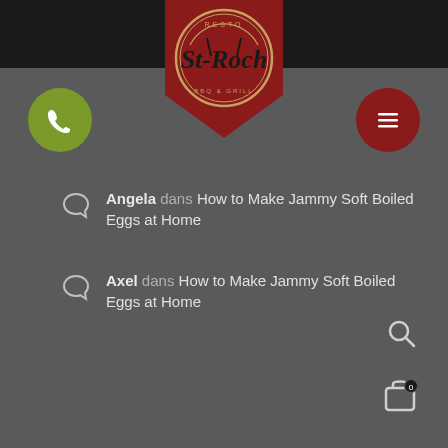[Figure (logo): Resto St-Roch BBQ & Grill logo on a red shield/pennant shape with circular badge design]
[Figure (other): Green circular phone/call button]
[Figure (other): Dark red circular hamburger menu button]
Angela dans How to Make Jammy Soft Boiled Eggs at Home
Axel dans How to Make Jammy Soft Boiled Eggs at Home
[Figure (other): Search icon (magnifying glass)]
[Figure (other): Shopping bag/cart icon with badge showing 0]